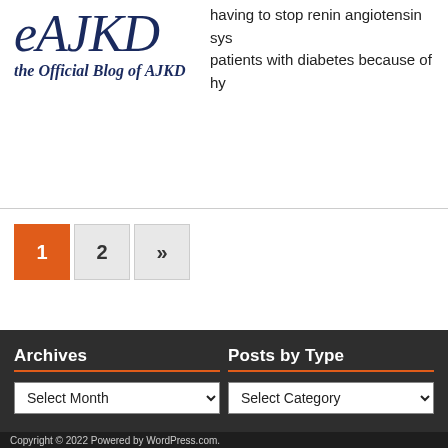[Figure (logo): eAJKD logo with italic serif text 'eAJKD' in dark navy blue and subtitle 'the Official Blog of AJKD']
having to stop renin angiotensin sys... patients with diabetes because of hy...
1  2  »
Archives
Posts by Type
Select Month
Select Category
Copyright © 2022 Powered by WordPress.com.